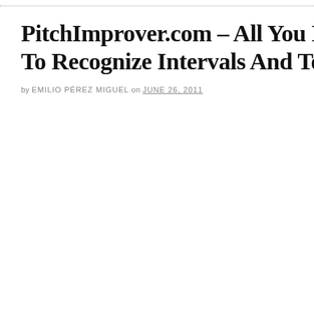PitchImprover.com – All You Need To Play By To Recognize Intervals And To Develop Perfec
by EMILIO PÉREZ MIGUEL on JUNE 26, 2011